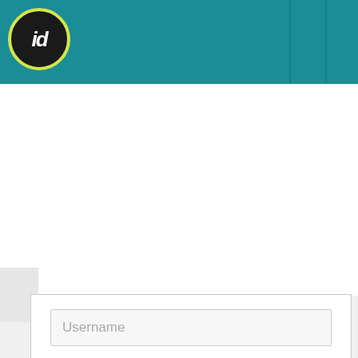[Figure (logo): Circular black logo with yellow-green border containing stylized 'id' text in white italic, set on teal header bar]
Username
Password
Remember Me
Log in
Create an account
Forgot your username?